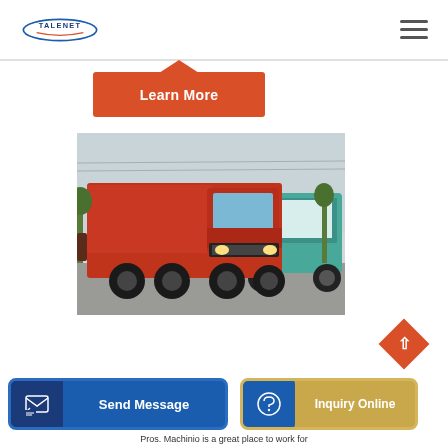TALENET
Learn More
[Figure (photo): Red heavy-duty dump truck (Sinotruk HOWO) parked in a yard with a teal dump truck visible in the background, trees and power lines behind]
Send Message
Inquiry Online
Pros. Machinio is a great place to work for